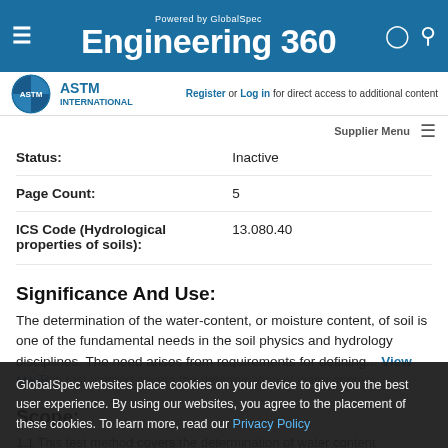Powered by GlobalSpec Engineering 360
[Figure (logo): ASTM International logo]
Register or Log in for direct access to additional content   Supplier Menu
| Field | Value |
| --- | --- |
| Status: | Inactive |
| Page Count: | 5 |
| ICS Code (Hydrological properties of soils): | 13.080.40 |
Significance And Use:
The determination of the water-content, or moisture content, of soil is one of the fundamental needs in the soil physics and hydrology disciplines. The need arises from requirements for defining... View More
Scope:
1.1 This test method covers the determination of water content
GlobalSpec websites place cookies on your device to give you the best user experience. By using our websites, you agree to the placement of these cookies. To learn more, read our Privacy Policy